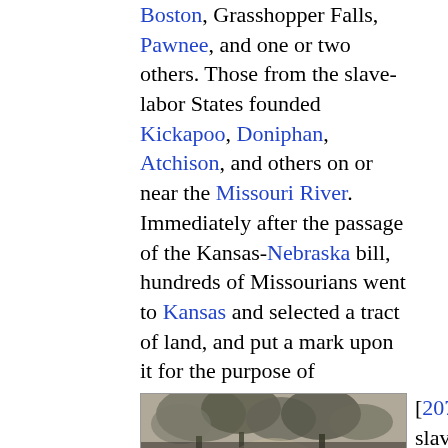Boston, Grasshopper Falls, Pawnee, and one or two others. Those from the slave-labor States founded Kickapoo, Doniphan, Atchison, and others on or near the Missouri River. Immediately after the passage of the Kansas-Nebraska bill, hundreds of Missourians went to Kansas and selected a tract of land, and put a mark upon it for the purpose of establishing a sort of pre-emption title to it, and at a public meeting resolved, “That we will afford protection to no abolitionist as a settler of this Territory; that we recognize the institution of slavery as already existing in this Territory, and ad-
[Figure (photo): Black and white photograph of trees or a wooded scene, partially visible at bottom of page.]
[207] vise slave-holders to